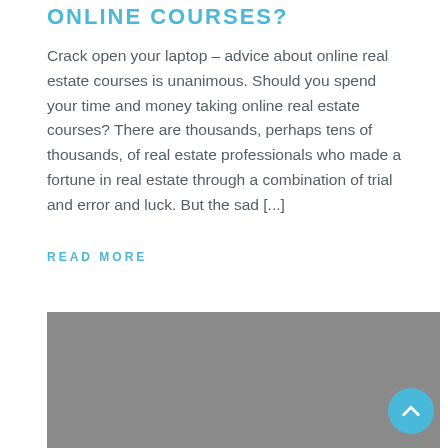ONLINE COURSES?
Crack open your laptop – advice about online real estate courses is unanimous. Should you spend your time and money taking online real estate courses? There are thousands, perhaps tens of thousands, of real estate professionals who made a fortune in real estate through a combination of trial and error and luck. But the sad [...]
READ MORE
[Figure (photo): Gray placeholder image for a blog post about online real estate courses]